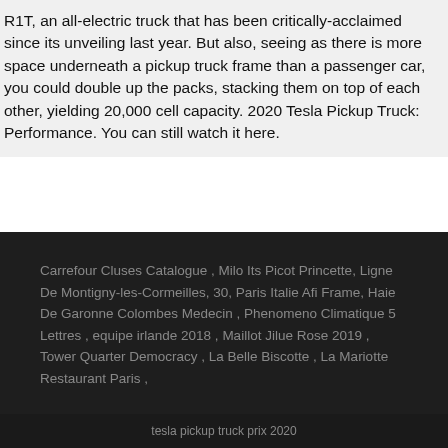R1T, an all-electric truck that has been critically-acclaimed since its unveiling last year. But also, seeing as there is more space underneath a pickup truck frame than a passenger car, you could double up the packs, stacking them on top of each other, yielding 20,000 cell capacity. 2020 Tesla Pickup Truck: Performance. You can still watch it here.
Carrefour Cluses Catalogue , Milo Its Picot Princette, Ligne De Montigny-les-Cormeilles, 30, Paris Italie Afi Frame, Haie De Garonne Colombes Medecin, Phenomeno Climatique 5 Lettres, equipe irlande 2018, Maillot Jilue Rose 2019, Tower Quarter Democracy, La Belle Biscotte, La Mariotte Restaurant Paris,
tesla pickup truck prix 2020